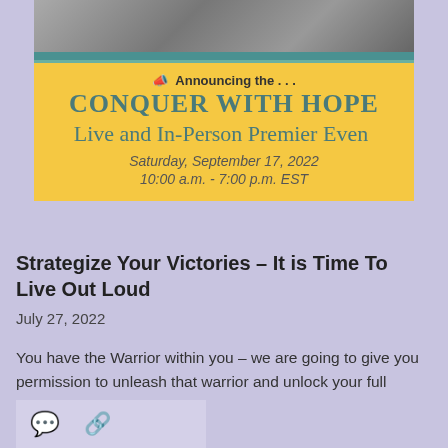[Figure (screenshot): Event announcement banner with yellow background. Shows 'Announcing the...' header, 'CONQUER WITH HOPE' title, 'Live and In-Person Premier Event' subtitle, date Saturday September 17 2022, time 10:00 a.m. - 7:00 p.m. EST. A dark photo strip appears at the top of the banner. Teal decorative bars separate sections.]
Strategize Your Victories – It is Time To Live Out Loud
July 27, 2022
You have the Warrior within you – we are going to give you permission to unleash that warrior and unlock your full potential. … More